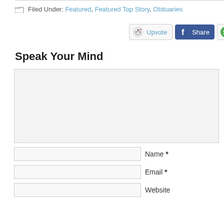Filed Under: Featured, Featured Top Story, Obituaries
[Figure (infographic): Social sharing buttons: Reddit Upvote, Facebook Share, StumbleUpon Upvote, Twitter]
Speak Your Mind
Comment textarea (empty)
Name *
Email *
Website